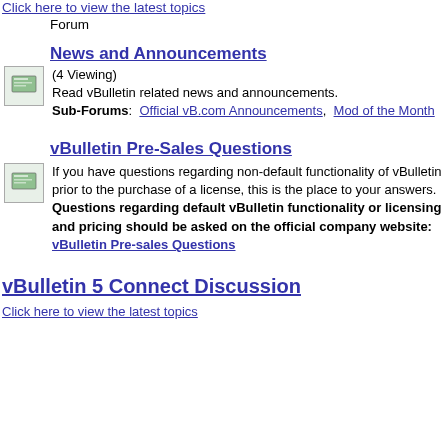Click here to view the latest topics
Forum
News and Announcements
(4 Viewing)
Read vBulletin related news and announcements.
Sub-Forums: Official vB.com Announcements, Mod of the Month
vBulletin Pre-Sales Questions
If you have questions regarding non-default functionality of vBulletin prior to the purchase of a license, this is the place to your answers. Questions regarding default vBulletin functionality or licensing and pricing should be asked on the official company website: vBulletin Pre-sales Questions
vBulletin 5 Connect Discussion
Click here to view the latest topics